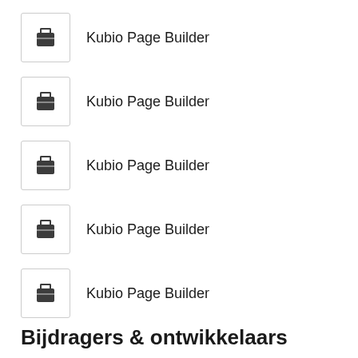Kubio Page Builder
Kubio Page Builder
Kubio Page Builder
Kubio Page Builder
Kubio Page Builder
Bijdragers & ontwikkelaars